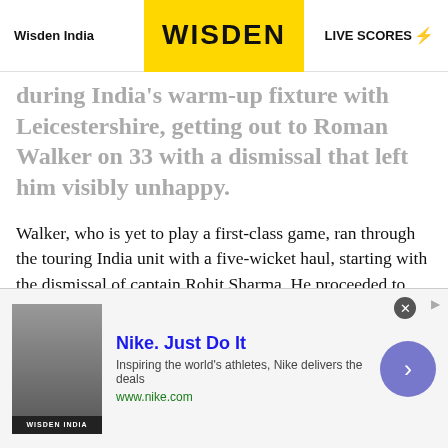Wisden India | WISDEN | LIVE SCORES
during India's warm-up fixture with Leicestershire, getting out to Roman Walker on 33 with a dismissal that left him visibly unhappy.
Walker, who is yet to play a first-class game, ran through the touring India unit with a five-wicket haul, starting with the dismissal of captain Rohit Sharma. He proceeded to snare Hanuma Vihari two overs later, pegging India back on the opening day of the clash.
The biggest prize, though, came in the 41st over, when
[Figure (screenshot): Nike advertisement banner at bottom of page showing Nike Just Do It ad with thumbnail image, text 'Inspiring the world's athletes, Nike delivers the deals' and url www.nike.com, with close button and arrow button]